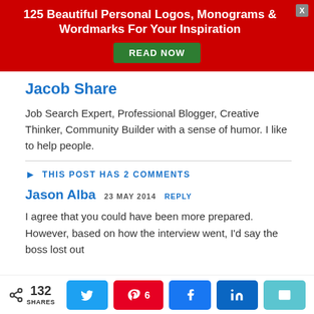[Figure (infographic): Red promotional banner with text '125 Beautiful Personal Logos, Monograms & Wordmarks For Your Inspiration' and a green 'READ NOW' button, with a gray close (X) button in the top right.]
Jacob Share
Job Search Expert, Professional Blogger, Creative Thinker, Community Builder with a sense of humor. I like to help people.
THIS POST HAS 2 COMMENTS
Jason Alba  23 MAY 2014  REPLY
I agree that you could have been more prepared. However, based on how the interview went, I'd say the boss lost out
[Figure (infographic): Social sharing bar with share count 132 SHARES and buttons for Twitter, Pinterest (6), Facebook (k), LinkedIn (in), and Email.]